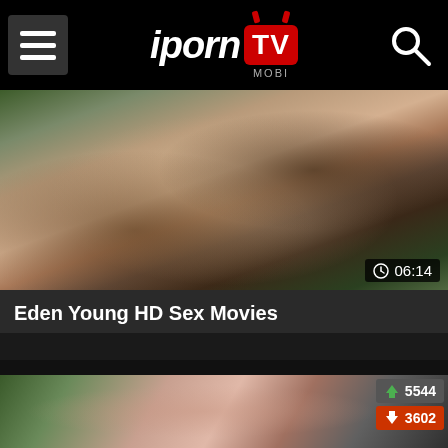iporn MOBI TV
[Figure (screenshot): Video thumbnail showing feet and hands, duration 06:14]
Eden Young HD Sex Movies
[Figure (screenshot): Video thumbnail showing a woman, with like count 5544 and dislike count 3602]